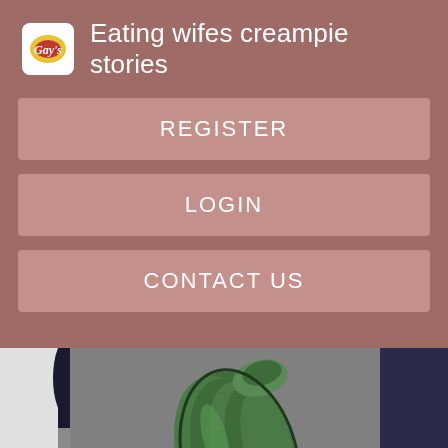Eating wifes creampie stories
REGISTER
LOGIN
CONTACT US
[Figure (illustration): Anime/manga style illustration showing a green vegetable (cucumber or zucchini) held by a dark-haired figure, with a dark grey background and partial reddish figure visible on the right side.]